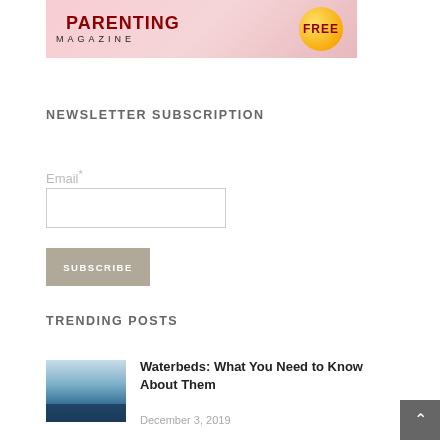[Figure (illustration): Parenting Magazine banner with red bold PARENTING text, MAGAZINE subtitle in black, and a yellow FREE ball/badge on pink background]
NEWSLETTER SUBSCRIPTION
Email*
SUBSCRIBE
TRENDING POSTS
[Figure (photo): Thumbnail photo of a waterbed with blue water surface]
Waterbeds: What You Need to Know About Them
December 3, 2019